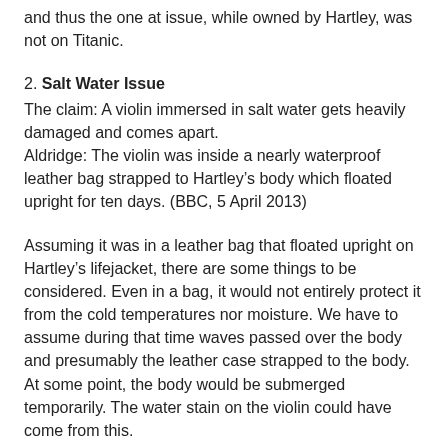and thus the one at issue, while owned by Hartley, was not on Titanic.
2. Salt Water Issue
The claim: A violin immersed in salt water gets heavily damaged and comes apart.
Aldridge: The violin was inside a nearly waterproof leather bag strapped to Hartley’s body which floated upright for ten days. (BBC, 5 April 2013)
Assuming it was in a leather bag that floated upright on Hartley’s lifejacket, there are some things to be considered. Even in a bag, it would not entirely protect it from the cold temperatures nor moisture. We have to assume during that time waves passed over the body and presumably the leather case strapped to the body. At some point, the body would be submerged temporarily. The water stain on the violin could have come from this.